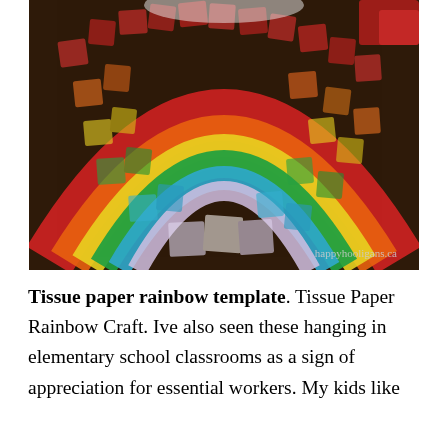[Figure (photo): A colorful tissue paper rainbow craft made with crumpled squares of tissue paper in red, orange, yellow, green, blue, and purple/white arranged in an arc on a dark wooden surface. Watermark reads 'happyhooligans.ca' in the bottom right corner.]
Tissue paper rainbow template. Tissue Paper Rainbow Craft. Ive also seen these hanging in elementary school classrooms as a sign of appreciation for essential workers. My kids like